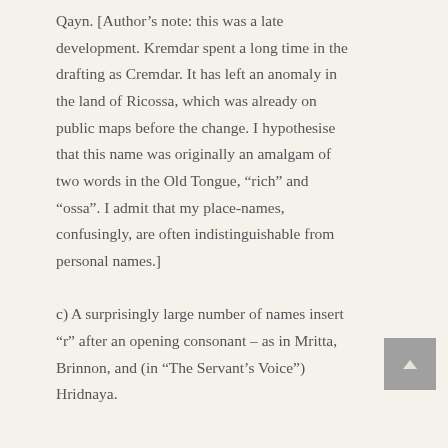Qayn. [Author's note: this was a late development. Kremdar spent a long time in the drafting as Cremdar. It has left an anomaly in the land of Ricossa, which was already on public maps before the change. I hypothesise that this name was originally an amalgam of two words in the Old Tongue, “rich” and “ossa”. I admit that my place-names, confusingly, are often indistinguishable from personal names.]
c) A surprisingly large number of names insert “r” after an opening consonant – as in Mritta, Brinnon, and (in “The Servant’s Voice”) Hridnaya.